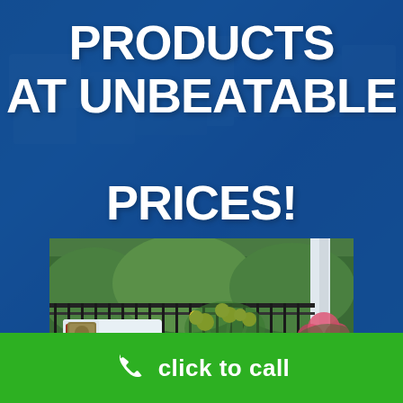PRODUCTS AT UNBEATABLE PRICES!
[Figure (photo): Outdoor deck with white furniture including a lounge chair and ottoman with rust-colored cushions, potted plants with yellow flowers in a navy blue pot, composite decking boards in brown/tan color, black metal railing with greenery in background]
click to call